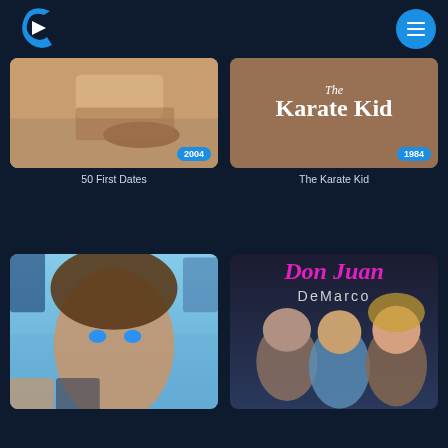[Figure (logo): Crackle streaming service logo - blue C with play triangle]
[Figure (screenshot): Navigation menu button (hamburger icon) in blue circle]
[Figure (photo): Movie poster thumbnail for 50 First Dates (2004)]
50 First Dates
[Figure (photo): Movie poster for The Karate Kid (1984) with brown background and title text]
The Karate Kid
[Figure (photo): Movie poster for an unnamed Tom Cruise film - close-up of actor face]
[Figure (photo): Movie poster for Don Juan DeMarco featuring cast members]